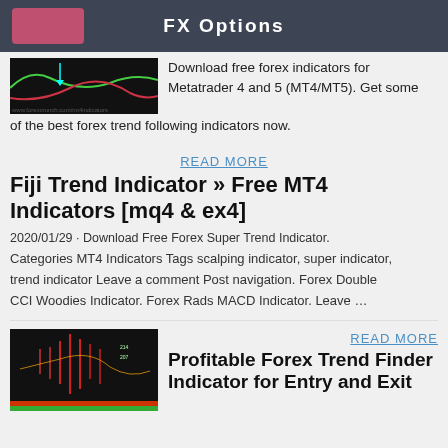FX Options
[Figure (screenshot): Forex indicator chart showing red and green curved lines on a dark background with a cyan arrow marker]
Download free forex indicators for Metatrader 4 and 5 (MT4/MT5). Get some of the best forex trend following indicators now.
READ MORE
Fiji Trend Indicator » Free MT4 Indicators [mq4 & ex4]
2020/01/29 · Download Free Forex Super Trend Indicator. Categories MT4 Indicators Tags scalping indicator, super indicator, trend indicator Leave a comment Post navigation. Forex Double CCI Woodies Indicator. Forex Rads MACD Indicator. Leave …
[Figure (screenshot): Forex candlestick chart on dark background with red candlesticks and colored indicator bars at the bottom]
READ MORE
Profitable Forex Trend Finder Indicator for Entry and Exit